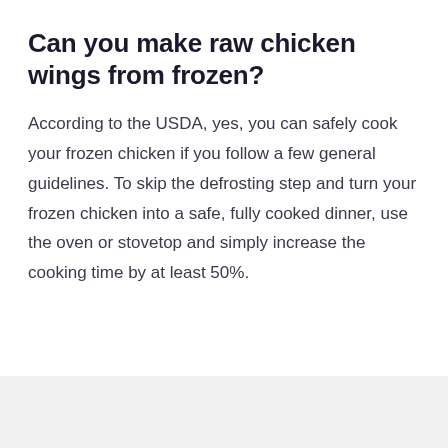Can you make raw chicken wings from frozen?
According to the USDA, yes, you can safely cook your frozen chicken if you follow a few general guidelines. To skip the defrosting step and turn your frozen chicken into a safe, fully cooked dinner, use the oven or stovetop and simply increase the cooking time by at least 50%.